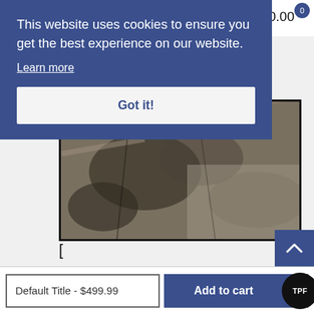? $0.00 0
This website uses cookies to ensure you get the best experience on our website.
Learn more
Got it!
[Figure (photo): Close-up photo of engine or mechanical parts, dark and worn metallic surface]
[
Due to the nature of the purchase, there are no refunds on engines, engine kits, transmission kits, transmissions, or other engine/trans related special order kits..
Default Title - $499.99
Add to cart